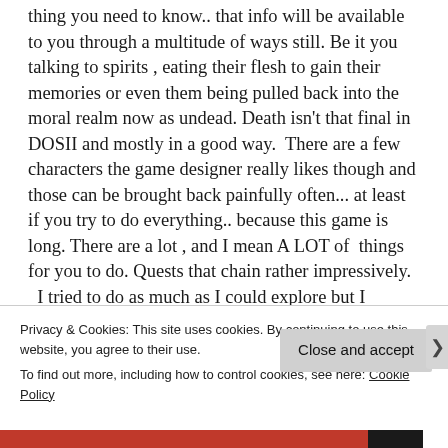thing you need to know.. that info will be available to you through a multitude of ways still. Be it you talking to spirits , eating their flesh to gain their memories or even them being pulled back into the moral realm now as undead. Death isn't that final in DOSII and mostly in a good way.  There are a few characters the game designer really likes though and those can be brought back painfully often... at least if you try to do everything.. because this game is long. There are a lot , and I mean A LOT of  things for you to do. Quests that chain rather impressively.  I tried to do as much as I could explore but I decided not to go for 100%. I roleplayed my
Privacy & Cookies: This site uses cookies. By continuing to use this website, you agree to their use.
To find out more, including how to control cookies, see here: Cookie Policy
Close and accept